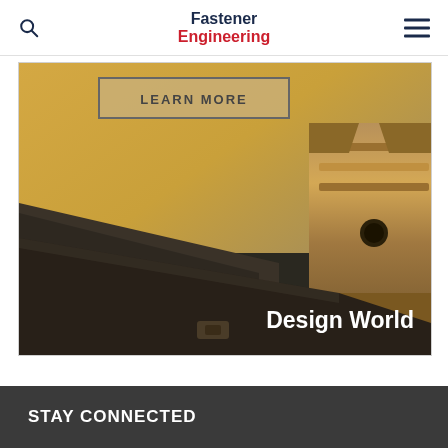Fastener Engineering
[Figure (screenshot): Advertisement banner for Design World showing metallic fastener/rail components on a golden background with a 'LEARN MORE' button and 'Design World' text overlay]
STAY CONNECTED